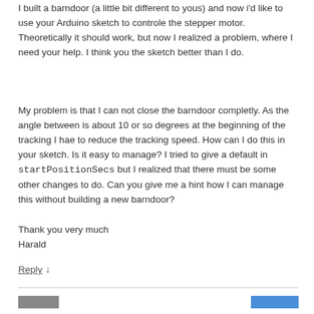I built a barndoor (a little bit different to yous) and now i'd like to use your Arduino sketch to controle the stepper motor. Theoretically it should work, but now I realized a problem, where I need your help. I think you the sketch better than I do.
My problem is that I can not close the barndoor completly. As the angle between is about 10 or so degrees at the beginning of the tracking I hae to reduce the tracking speed. How can I do this in your sketch. Is it easy to manage? I tried to give a default in startPositionSecs but I realized that there must be some other changes to do. Can you give me a hint how I can manage this without building a new barndoor?
Thank you very much
Harald
Reply ↓